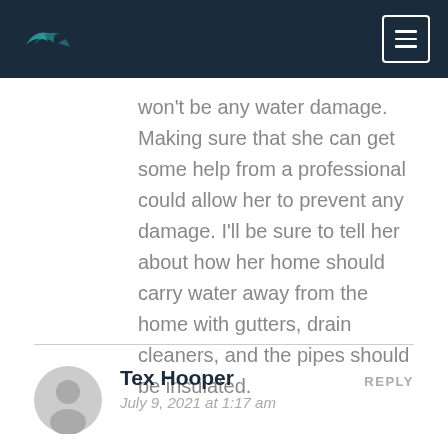[Logo] [Menu button]
won't be any water damage. Making sure that she can get some help from a professional could allow her to prevent any damage. I'll be sure to tell her about how her home should carry water away from the home with gutters, drain cleaners, and the pipes should be insulated.
Tex Hooper
July 9, 2021 at 1:17 am